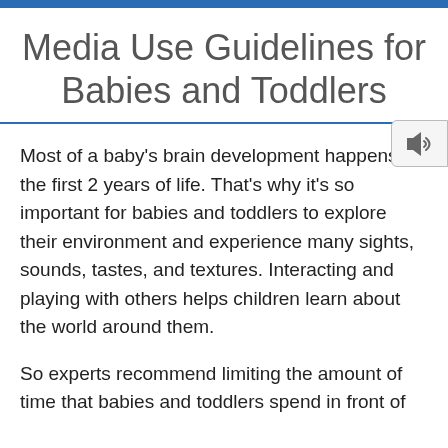Media Use Guidelines for Babies and Toddlers
[Figure (other): Audio/speaker button icon on the right side of the page]
Most of a baby's brain development happens in the first 2 years of life. That's why it's so important for babies and toddlers to explore their environment and experience many sights, sounds, tastes, and textures. Interacting and playing with others helps children learn about the world around them.
So experts recommend limiting the amount of time that babies and toddlers spend in front of screens.